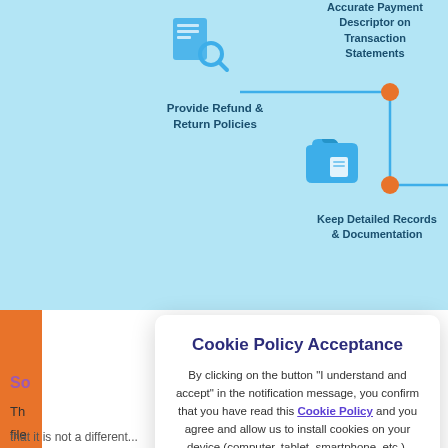[Figure (infographic): Light blue infographic background showing flowchart elements: 'Provide Refund & Return Policies' icon with document/search graphic on left, 'Accurate Payment Descriptor on Transaction Statements' text on upper right, 'Keep Detailed Records & Documentation' icon with folder graphic on lower right. Blue connecting lines with orange circle nodes form a T-junction path.]
So
Th
file
tra
ma
that it is not a different...
Cookie Policy Acceptance
By clicking on the button "I understand and accept" in the notification message, you confirm that you have read this Cookie Policy and you agree and allow us to install cookies on your device (computer, tablet, smartphone, etc.).
I understand and accept